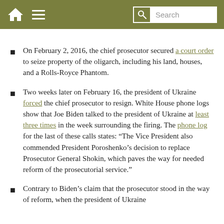Navigation bar with home icon, menu icon, and search box
On February 2, 2016, the chief prosecutor secured a court order to seize property of the oligarch, including his land, houses, and a Rolls-Royce Phantom.
Two weeks later on February 16, the president of Ukraine forced the chief prosecutor to resign. White House phone logs show that Joe Biden talked to the president of Ukraine at least three times in the week surrounding the firing. The phone log for the last of these calls states: “The Vice President also commended President Poroshenko’s decision to replace Prosecutor General Shokin, which paves the way for needed reform of the prosecutorial service.”
Contrary to Biden’s claim that the prosecutor stood in the way of reform, when the president of Ukraine